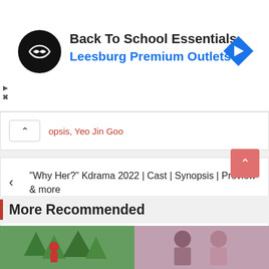[Figure (screenshot): Advertisement banner: Back To School Essentials - Leesburg Premium Outlets with logo and navigation arrow icon]
opsis, Yeo Jin Goo
“Why Her?” Kdrama 2022 | Cast | Synopsis | Preview & more
“Cleaning Up” Kdrama 2022 | Cast | Synopsis | Preview & more
More Recommended
[Figure (photo): Two photos at the bottom: left shows a person in red near green trees, right shows two people]